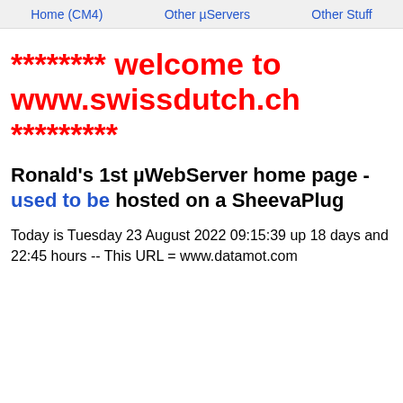Home (CM4)  Other µServers  Other Stuff
******** welcome to www.swissdutch.ch *********
Ronald's 1st µWebServer home page - used to be hosted on a SheevaPlug
Today is Tuesday 23 August 2022 09:15:39 up 18 days and 22:45 hours -- This URL = www.datamot.com